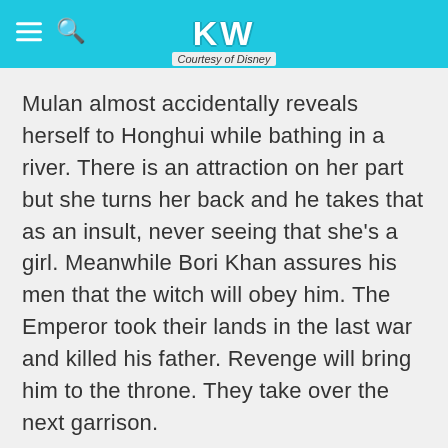KW Courtesy of Disney
Mulan almost accidentally reveals herself to Honghui while bathing in a river. There is an attraction on her part but she turns her back and he takes that as an insult, never seeing that she's a girl. Meanwhile Bori Khan assures his men that the witch will obey him. The Emperor took their lands in the last war and killed his father. Revenge will bring him to the throne. They take over the next garrison.